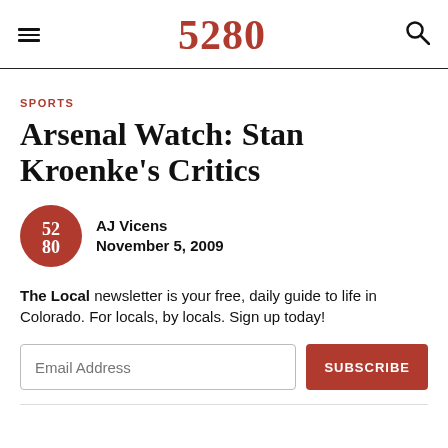5280
SPORTS
Arsenal Watch: Stan Kroenke's Critics
AJ Vicens
November 5, 2009
The Local newsletter is your free, daily guide to life in Colorado. For locals, by locals. Sign up today!
Email Address  SUBSCRIBE